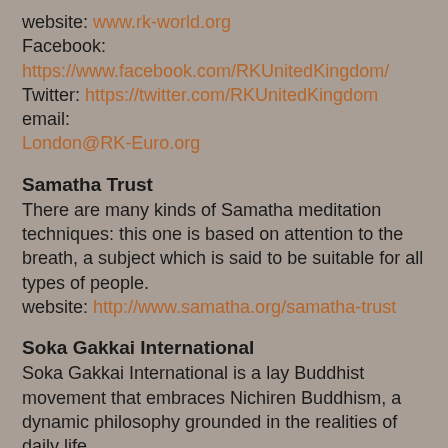website: www.rk-world.org
Facebook: https://www.facebook.com/RKUnitedKingdom/
Twitter: https://twitter.com/RKUnitedKingdom email:
London@RK-Euro.org
Samatha Trust
There are many kinds of Samatha meditation techniques: this one is based on attention to the breath, a subject which is said to be suitable for all types of people.
website: http://www.samatha.org/samatha-trust
Soka Gakkai International
Soka Gakkai International is a lay Buddhist movement that embraces Nichiren Buddhism, a dynamic philosophy grounded in the realities of daily life.
website: http://www.sgi.org/
Zen Association Wales
Soto Zen Buddhism.
It was initially founded in China as the Caodong lineage of the Chan school of Buddhism and was later imported to Japan in the thirteenth century by Dogen Zenji, after which it